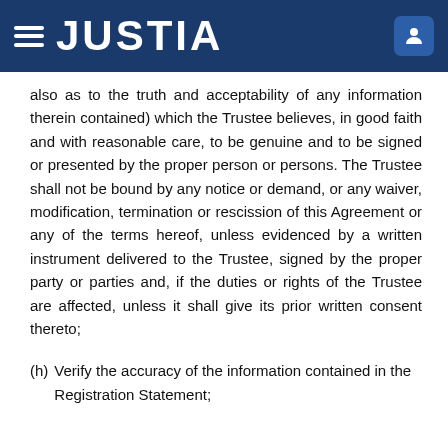JUSTIA
also as to the truth and acceptability of any information therein contained) which the Trustee believes, in good faith and with reasonable care, to be genuine and to be signed or presented by the proper person or persons. The Trustee shall not be bound by any notice or demand, or any waiver, modification, termination or rescission of this Agreement or any of the terms hereof, unless evidenced by a written instrument delivered to the Trustee, signed by the proper party or parties and, if the duties or rights of the Trustee are affected, unless it shall give its prior written consent thereto;
(h) Verify the accuracy of the information contained in the Registration Statement;